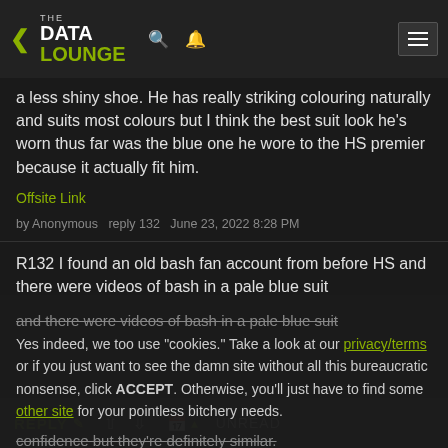THE DATA LOUNGE
a less shiny shoe. He has really striking colouring naturally and suits most colours but I think the best suit look he's worn thus far was the blue one he wore to the HS premier because it actually fit him.
Offsite Link
by Anonymous  reply 132  June 23, 2022 8:28 PM
R132 I found an old bash fan account from before HS and there were videos of bash in a pale blue suit
confidence but they're definitely similar.
Offsite Link
Yes indeed, we too use "cookies." Take a look at our privacy/terms or if you just want to see the damn site without all this bureaucratic nonsense, click ACCEPT. Otherwise, you'll just have to find some other site for your pointless bitchery needs.
REPLY  UNREAD